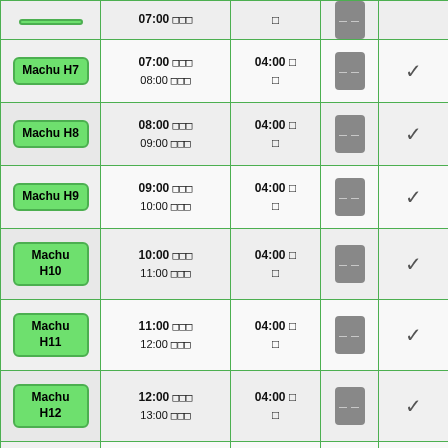| Tour | Time | Duration | Info | Status |
| --- | --- | --- | --- | --- |
| Machu H7 | 07:00 □□□
08:00 □□□ | 04:00 □
□ | — | ✓ |
| Machu H8 | 08:00 □□□
09:00 □□□ | 04:00 □
□ | — | ✓ |
| Machu H9 | 09:00 □□□
10:00 □□□ | 04:00 □
□ | — | ✓ |
| Machu H10 | 10:00 □□□
11:00 □□□ | 04:00 □
□ | — | ✓ |
| Machu H11 | 11:00 □□□
12:00 □□□ | 04:00 □
□ | — | ✓ |
| Machu H12 | 12:00 □□□
13:00 □□□ | 04:00 □
□ | — | ✓ |
| Machu H13 | 13:00 □□□
14:00 □□□ | 04:00 □
□ | — | ✓ |